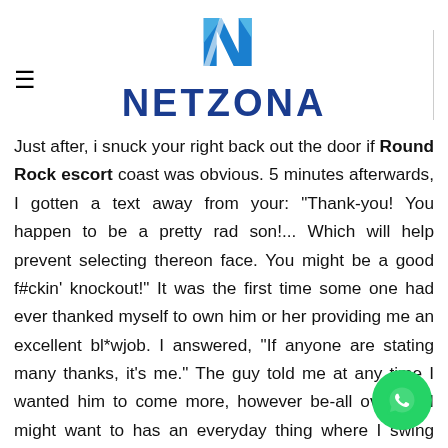[Figure (logo): Netzona logo with blue geometric N icon and bold blue NETZONA text]
Just after, i snuck your right back out the door if Round Rock escort coast was obvious. 5 minutes afterwards, I gotten a text away from your: "Thank-you! You happen to be a pretty rad son!... Which will help prevent selecting thereon face. You might be a good f#ckin' knockout!" It was the first time some one had ever thanked myself to own him or her providing me an excellent bl*wjob. I answered, "If anyone are stating many thanks, it's me." The guy told me at any time I wanted him to come more, however be-all over it. "I might want to has an everyday thing where I swing from the in the morning just before works once or twice a week" he said. The guy actually was such as the milkman.